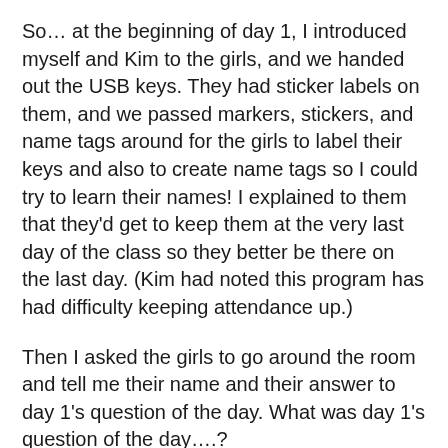So… at the beginning of day 1, I introduced myself and Kim to the girls, and we handed out the USB keys. They had sticker labels on them, and we passed markers, stickers, and name tags around for the girls to label their keys and also to create name tags so I could try to learn their names! I explained to them that they'd get to keep them at the very last day of the class so they better be there on the last day. (Kim had noted this program has had difficulty keeping attendance up.)
Then I asked the girls to go around the room and tell me their name and their answer to day 1's question of the day. What was day 1's question of the day….?
If you could visit anywhere in the world (or even in space!), where would you want to go?